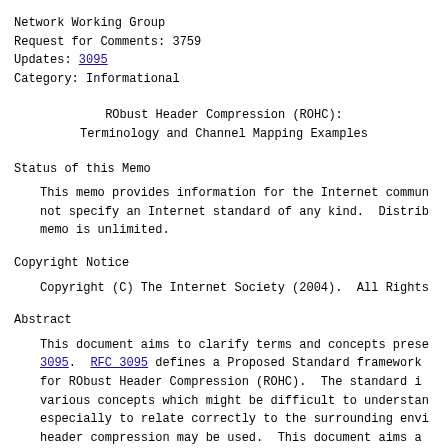Network Working Group
Request for Comments: 3759
Updates: 3095
Category: Informational
RObust Header Compression (ROHC):
Terminology and Channel Mapping Examples
Status of this Memo
This memo provides information for the Internet commun not specify an Internet standard of any kind. Distrib memo is unlimited.
Copyright Notice
Copyright (C) The Internet Society (2004).  All Rights
Abstract
This document aims to clarify terms and concepts prese 3095.  RFC 3095 defines a Proposed Standard framework for RObust Header Compression (ROHC).  The standard i various concepts which might be difficult to understan especially to relate correctly to the surrounding envi header compression may be used.  This document aims a these aspects of ROHC, discussing terms such as ROHC channels, ROHC feedback, and ROHC contexts, and how t relate to other terms, like network elements and IP d